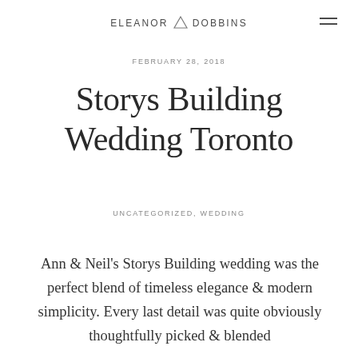ELEANOR △ DOBBINS
FEBRUARY 28, 2018
Storys Building Wedding Toronto
UNCATEGORIZED, WEDDING
Ann & Neil's Storys Building wedding was the perfect blend of timeless elegance & modern simplicity. Every last detail was quite obviously thoughtfully picked & blended